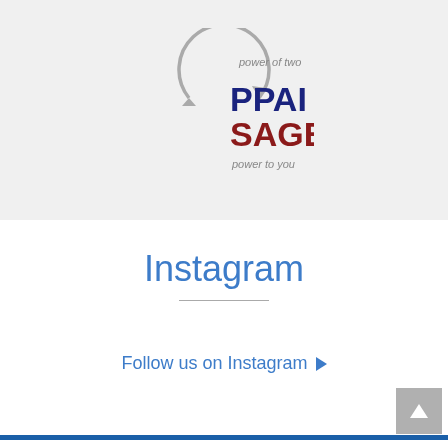[Figure (logo): PPAI SAGE partnership logo with circular arrows and taglines 'power of two' and 'power to you']
Instagram
Follow us on Instagram ▶